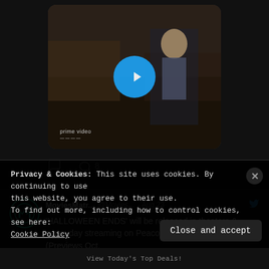[Figure (screenshot): Video thumbnail with play button, showing a man in medieval armor in a market scene, with 'prime video' watermark at bottom left]
[Figure (infographic): Like/comment interaction bar with heart icon showing '8' likes and comment icon]
MoviesMatr... @Movies... · Aug 23 'HALLOWEEN ENDS' will be released in theaters & same-day streaming on Peacock on October 14! (Previews Oct.
Privacy & Cookies: This site uses cookies. By continuing to use this website, you agree to their use.
To find out more, including how to control cookies, see here:
Cookie Policy
Close and accept
View Today's Top Deals!